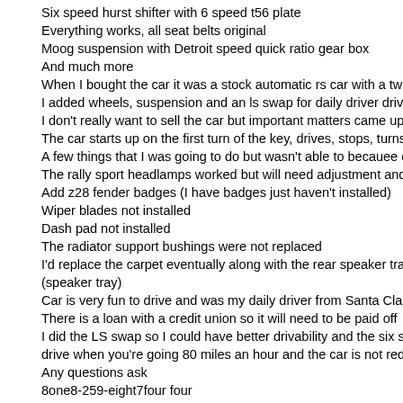Six speed hurst shifter with 6 speed t56 plate
Everything works, all seat belts original
Moog suspension with Detroit speed quick ratio gear box
And much more
When I bought the car it was a stock automatic rs car with a two barre
I added wheels, suspension and an ls swap for daily driver drivability
I don't really want to sell the car but important matters came up and I
The car starts up on the first turn of the key, drives, stops, turns and c
A few things that I was going to do but wasn't able to becauee of time
The rally sport headlamps worked but will need adjustment and I can
Add z28 fender badges (I have badges just haven't installed)
Wiper blades not installed
Dash pad not installed
The radiator support bushings were not replaced
I'd replace the carpet eventually along with the rear speaker tray I alre
(speaker tray)
Car is very fun to drive and was my daily driver from Santa Clarita to s
There is a loan with a credit union so it will need to be paid off
I did the LS swap so I could have better drivability and the six speed s
drive when you're going 80 miles an hour and the car is not redlining
Any questions ask
8one8-259-eight7four four
I can post or send pics just ask
Sold as is and no refunds or exchanges.
Please don't bid to waste people's time
Please inspect, preview merchandise before biddding, Make all neces
makers are on board prior to bidding
Thanks